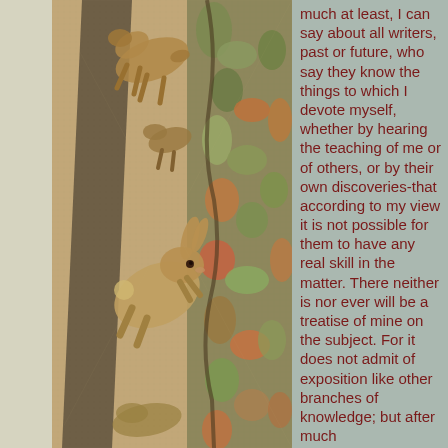[Figure (photo): Ancient Roman mosaic depicting animals including hares/rabbits leaping among decorative foliage and floral motifs. The mosaic shows earth tones of brown, red, green and cream tesserae forming a detailed naturalistic scene.]
much at least, I can say about all writers, past or future, who say they know the things to which I devote myself, whether by hearing the teaching of me or of others, or by their own discoveries-that according to my view it is not possible for them to have any real skill in the matter. There neither is nor ever will be a treatise of mine on the subject. For it does not admit of exposition like other branches of knowledge; but after much